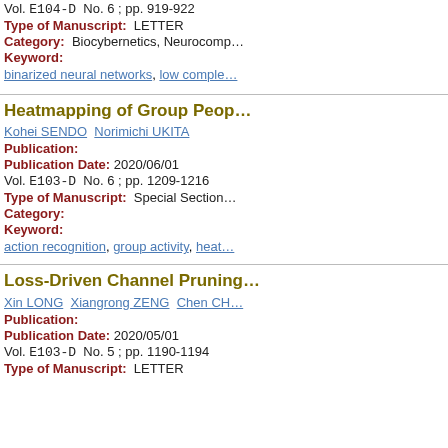Vol. E104-D  No. 6 ; pp. 919-922
Type of Manuscript:  LETTER
Category:  Biocybernetics, Neurocomp…
Keyword:
binarized neural networks, low comple…
Heatmapping of Group Peop…
Kohei SENDO  Norimichi UKITA
Publication:
Publication Date: 2020/06/01
Vol. E103-D  No. 6 ; pp. 1209-1216
Type of Manuscript:  Special Section…
Category:
Keyword:
action recognition, group activity, heat…
Loss-Driven Channel Pruning…
Xin LONG  Xiangrong ZENG  Chen CH…
Publication:
Publication Date: 2020/05/01
Vol. E103-D  No. 5 ; pp. 1190-1194
Type of Manuscript:  LETTER